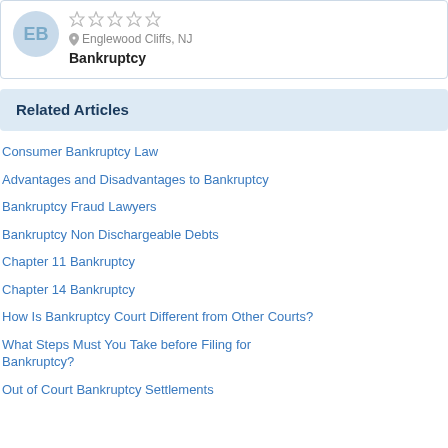[Figure (other): Attorney profile card with avatar initials 'EB', empty star rating, location 'Englewood Cliffs, NJ', and practice area 'Bankruptcy']
Related Articles
Consumer Bankruptcy Law
Advantages and Disadvantages to Bankruptcy
Bankruptcy Fraud Lawyers
Bankruptcy Non Dischargeable Debts
Chapter 11 Bankruptcy
Chapter 14 Bankruptcy
How Is Bankruptcy Court Different from Other Courts?
What Steps Must You Take before Filing for Bankruptcy?
Out of Court Bankruptcy Settlements